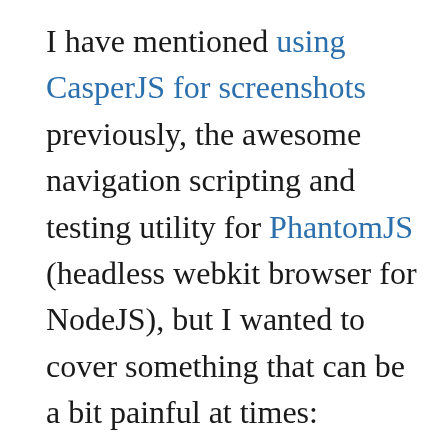I have mentioned using CasperJS for screenshots previously, the awesome navigation scripting and testing utility for PhantomJS (headless webkit browser for NodeJS), but I wanted to cover something that can be a bit painful at times: installation. You can install all three of these on your MAC or Windows OS but I would recommend grabbing a free VM